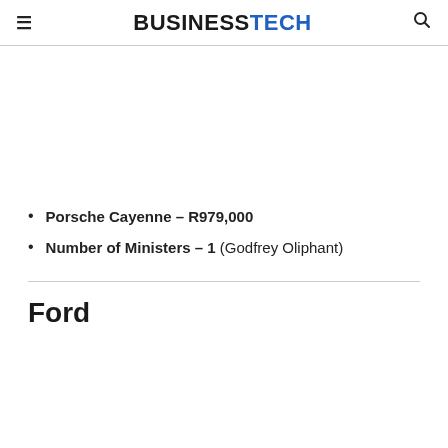≡  BUSINESSTECH  🔍
Porsche Cayenne – R979,000
Number of Ministers – 1 (Godfrey Oliphant)
Ford